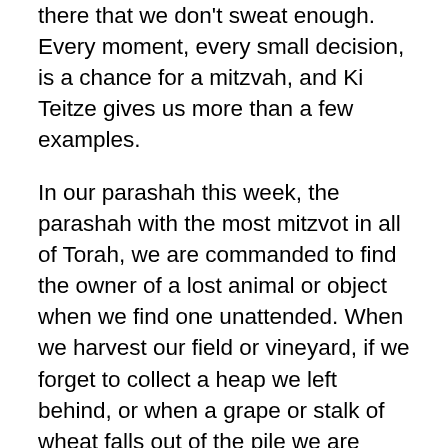there that we don't sweat enough. Every moment, every small decision, is a chance for a mitzvah, and Ki Teitze gives us more than a few examples.
In our parashah this week, the parashah with the most mitzvot in all of Torah, we are commanded to find the owner of a lost animal or object when we find one unattended. When we harvest our field or vineyard, if we forget to collect a heap we left behind, or when a grape or stalk of wheat falls out of the pile we are carrying, we are told to leave it behind for the poor. We are told never to take unfair advantage of our workers, but rather, to pay those who live hand-to-mouth on each day that they need. And in business dealings, we must calculate our weights and measures with our utmost honesty. One heap, one grape, one day's wages - all opportunities for mitzvot for doing the right thing...